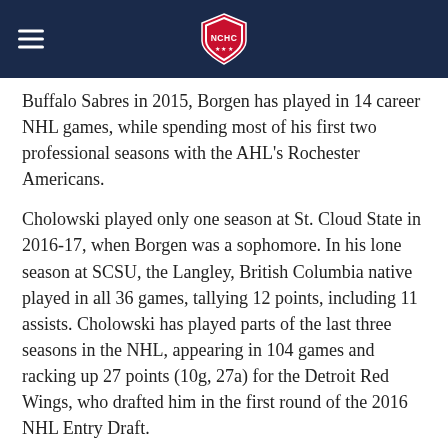NCHC
Buffalo Sabres in 2015, Borgen has played in 14 career NHL games, while spending most of his first two professional seasons with the AHL's Rochester Americans.
Cholowski played only one season at St. Cloud State in 2016-17, when Borgen was a sophomore. In his lone season at SCSU, the Langley, British Columbia native played in all 36 games, tallying 12 points, including 11 assists. Cholowski has played parts of the last three seasons in the NHL, appearing in 104 games and racking up 27 points (10g, 27a) for the Detroit Red Wings, who drafted him in the first round of the 2016 NHL Entry Draft.
The Seattle Kraken are now the NHL's 32nd franchise and will begin play in the upcoming 2021-22 season.